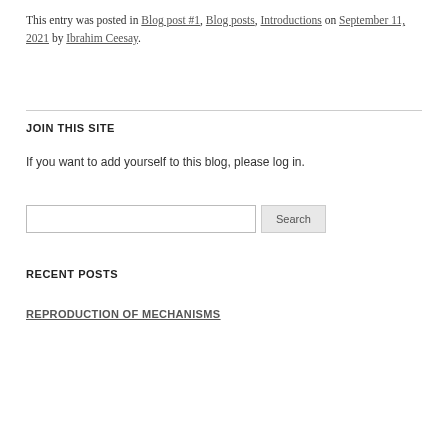This entry was posted in Blog post #1, Blog posts, Introductions on September 11, 2021 by Ibrahim Ceesay.
JOIN THIS SITE
If you want to add yourself to this blog, please log in.
RECENT POSTS
REPRODUCTION OF MECHANISMS